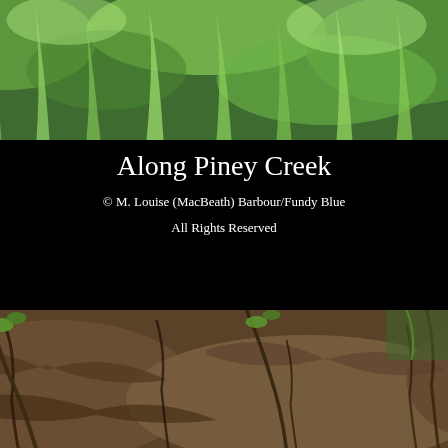[Figure (photo): Photograph of green grass and vegetation along a creek, viewed from above]
Along Piney Creek
© M. Louise (MacBeath) Barbour/Fundy Blue
All Rights Reserved
[Figure (photo): Photograph of rocky creek bank with roots, stones, and small green plants emerging from the earth]